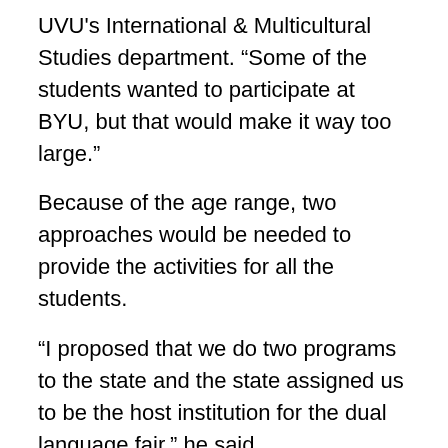UVU's International & Multicultural Studies department. “Some of the students wanted to participate at BYU, but that would make it way too large.”
Because of the age range, two approaches would be needed to provide the activities for all the students.
“I proposed that we do two programs to the state and the state assigned us to be the host institution for the dual language fair,” he said.
The State Board of Education invited UVU to host the fair more than a year ago, he said. Teams for several university departments have been planning and organizing the event since then.
Please read more here.